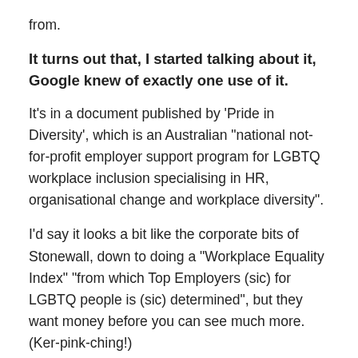from.
It turns out that, I started talking about it, Google knew of exactly one use of it.
It's in a document published by 'Pride in Diversity', which is an Australian "national not-for-profit employer support program for LGBTQ workplace inclusion specialising in HR, organisational change and workplace diversity".
I'd say it looks a bit like the corporate bits of Stonewall, down to doing a "Workplace Equality Index" "from which Top Employers (sic) for LGBTQ people is (sic) determined", but they want money before you can see much more. (Ker-pink-ching!)